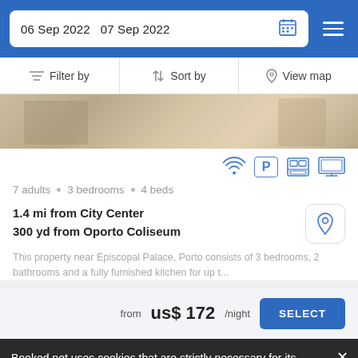06 Sep 2022  07 Sep 2022
Filter by  Sort by  View map
[Figure (photo): Interior photo of a room with wooden floor and furniture, partially visible at the top of the listing card]
[Figure (infographic): Amenity icons: WiFi, Parking (P), Oven/kitchen appliance, TV/monitor]
7 adults • 3 bedrooms • 4 beds
1.4 mi from City Center
300 yd from Oporto Coliseum
This property near Episcopal Palace, Porto consists of 3 bedrooms, 2 bathrooms and a fully furnished kitchen for up t...
from us$ 172/night
SELECT
Booked.net uses cookies that are strictly necessary for its functioning. We do not collect analytical and marketing cookies.
Villa